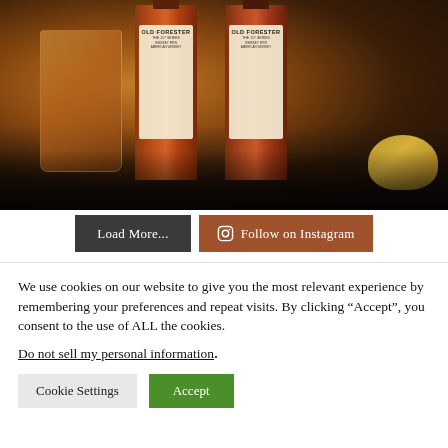[Figure (photo): Photo of Old Forester 117 Series whiskey bottles on a dark wooden surface, with a glass of whiskey and a gold turtle figurine visible]
Load More...
Follow on Instagram
We use cookies on our website to give you the most relevant experience by remembering your preferences and repeat visits. By clicking “Accept”, you consent to the use of ALL the cookies.
Do not sell my personal information.
Cookie Settings
Accept